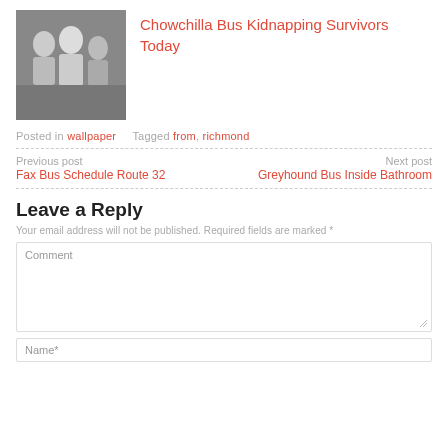[Figure (photo): Black and white thumbnail photo of people]
Chowchilla Bus Kidnapping Survivors Today
Posted in wallpaper   Tagged from, richmond
Previous post
Fax Bus Schedule Route 32
Next post
Greyhound Bus Inside Bathroom
Leave a Reply
Your email address will not be published. Required fields are marked *
Comment
Name*